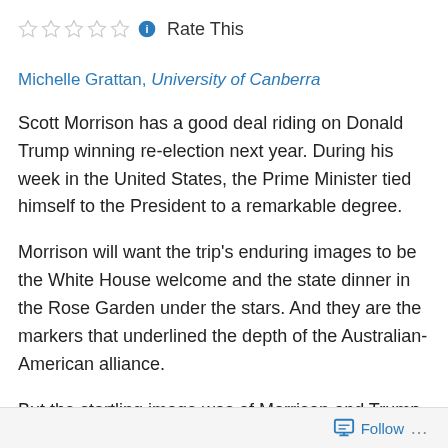Rate This
Michelle Grattan, University of Canberra
Scott Morrison has a good deal riding on Donald Trump winning re-election next year. During his week in the United States, the Prime Minister tied himself to the President to a remarkable degree.
Morrison will want the trip’s enduring images to be the White House welcome and the state dinner in the Rose Garden under the stars. And they are the markers that underlined the depth of the Australian-American alliance.
But the startling image was of Morrison and Trump on stage together at billionaire Anthony Pratt’s paper factory in Wapakoneta, Ohio.
Follow ...